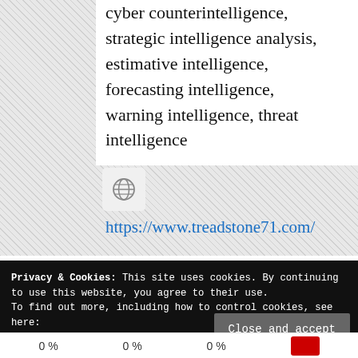cyber counterintelligence, strategic intelligence analysis, estimative intelligence, forecasting intelligence, warning intelligence, threat intelligence
[Figure (other): Globe/website icon in a light grey rounded box]
https://www.treadstone71.com/
Privacy & Cookies: This site uses cookies. By continuing to use this website, you agree to their use.
To find out more, including how to control cookies, see here: Cookie Policy – GDPR
Close and accept
0 %    0 %    0 %